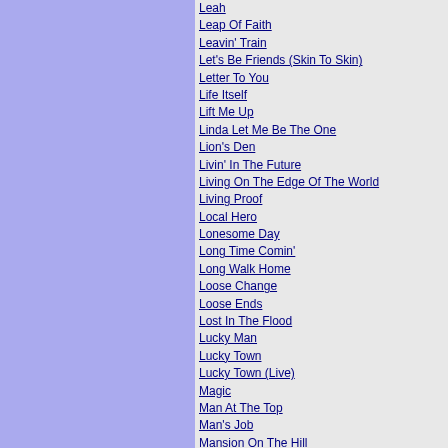Leah
Leap Of Faith
Leavin' Train
Let's Be Friends (Skin To Skin)
Letter To You
Life Itself
Lift Me Up
Linda Let Me Be The One
Lion's Den
Livin' In The Future
Living On The Edge Of The World
Living Proof
Local Hero
Lonesome Day
Long Time Comin'
Long Walk Home
Loose Change
Loose Ends
Lost In The Flood
Lucky Man
Lucky Town
Lucky Town (Live)
Magic
Man At The Top
Man's Job
Mansion On The Hill
Maria's Bed
Mary Lou
Order by year
Add a song
ALBUMS BY BRUCE SPRINGSTEEN
18 Tracks
1978 - Passaic Night - The Classic New Jersey Broadcast (Bruce Springsteen & The E Street Bar...